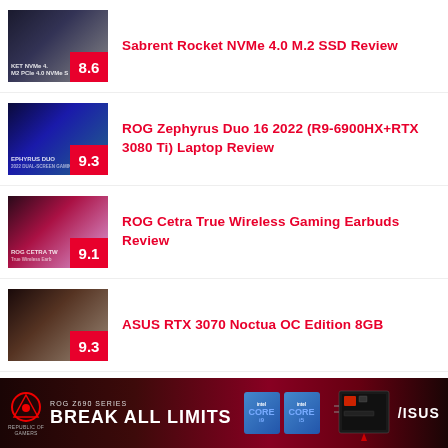[Figure (screenshot): Sabrent Rocket NVMe product thumbnail with score badge 8.6]
Sabrent Rocket NVMe 4.0 M.2 SSD Review
[Figure (screenshot): ROG Zephyrus Duo 16 laptop thumbnail with score badge 9.3]
ROG Zephyrus Duo 16 2022 (R9-6900HX+RTX 3080 Ti) Laptop Review
[Figure (screenshot): ROG Cetra True Wireless earbuds thumbnail with score badge 9.1]
ROG Cetra True Wireless Gaming Earbuds Review
[Figure (screenshot): ASUS RTX 3070 Noctua OC Edition thumbnail with score badge 9.3]
ASUS RTX 3070 Noctua OC Edition 8GB
[Figure (infographic): ASUS ROG Z690 Series Break All Limits advertisement banner]